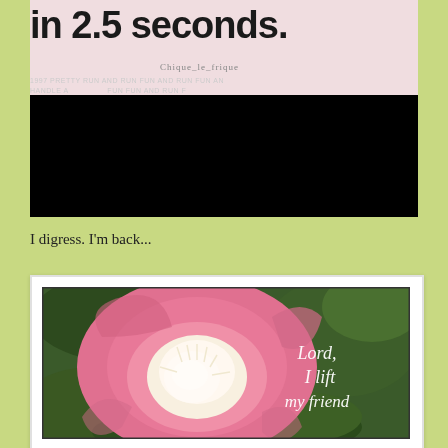[Figure (photo): Top portion of an image showing large bold text 'in 2.5 seconds.' on a pink/cream background with watermark 'Chique_le_frique' and repeating faint background text, followed by a large black rectangle (redacted/blacked-out area).]
I digress. I'm back...
[Figure (photo): A framed photo of a large pink peony flower with white center, set against green leafy background. White italic text on the right side reads 'Lord, I lift my friend'.]